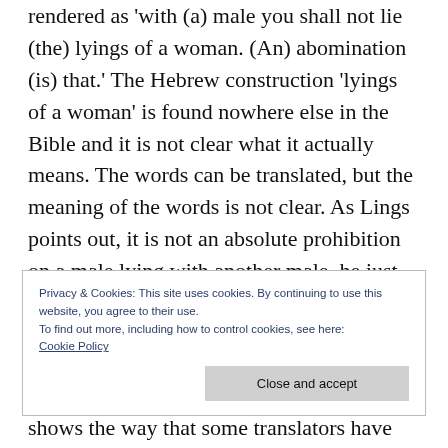rendered as 'with (a) male you shall not lie (the) lyings of a woman. (An) abomination (is) that.' The Hebrew construction 'lyings of a woman' is found nowhere else in the Bible and it is not clear what it actually means. The words can be translated, but the meaning of the words is not clear. As Lings points out, it is not an absolute prohibition on a male lying with another male, he just cannot do it in a particular way. The Hebrew word translated 'lying' does clearly have a sexual meaning.
Privacy & Cookies: This site uses cookies. By continuing to use this website, you agree to their use.
To find out more, including how to control cookies, see here:
Cookie Policy
Close and accept
shows the way that some translators have